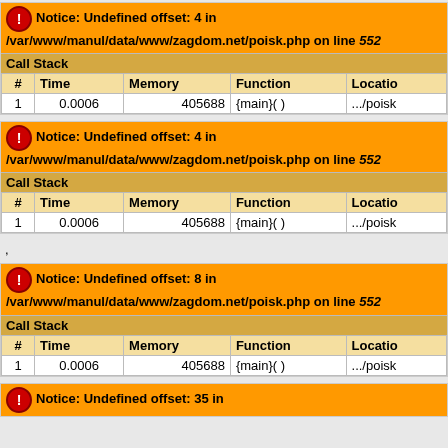| # | Time | Memory | Function | Location |
| --- | --- | --- | --- | --- |
| 1 | 0.0006 | 405688 | {main}( ) | .../poisk |
| # | Time | Memory | Function | Location |
| --- | --- | --- | --- | --- |
| 1 | 0.0006 | 405688 | {main}( ) | .../poisk |
,
| # | Time | Memory | Function | Location |
| --- | --- | --- | --- | --- |
| 1 | 0.0006 | 405688 | {main}( ) | .../poisk |